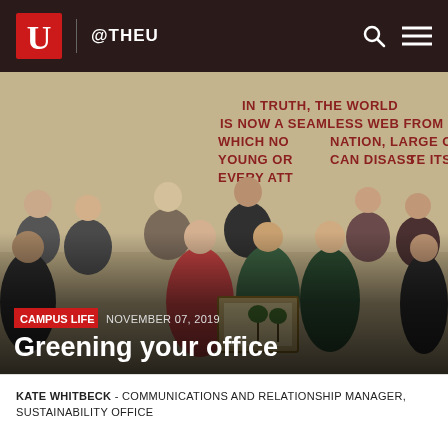@THEU
[Figure (photo): Group photo of approximately 14 people standing in front of a wall with a red text quote reading 'IN TRUTH, THE WORLD IS NOW A SEAMLESS WEB FROM WHICH NO NATION, LARGE OR SMALL, YOUNG OR OLD CAN DISASSOCIATE ITSELF. EVERY ATTEMPT...' One person in the front center is holding a framed certificate/award. People are wearing casual clothing.]
CAMPUS LIFE   NOVEMBER 07, 2019
Greening your office
KATE WHITBECK - COMMUNICATIONS AND RELATIONSHIP MANAGER, SUSTAINABILITY OFFICE